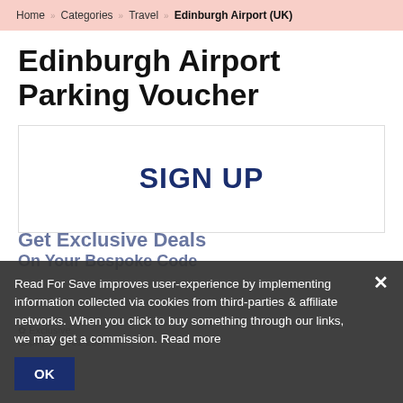Home › Categories › Travel › Edinburgh Airport (UK)
Edinburgh Airport Parking Voucher
[Figure (other): Sign Up button/box area with 'SIGN UP' text in dark navy bold]
Get Exclusive Deals
On Your Bespoke Code
✿ Exclusive
Expiry: Aug-31-2024
Read For Save improves user-experience by implementing information collected via cookies from third-parties & affiliate networks. When you click to buy something through our links, we may get a commission. Read more
OK